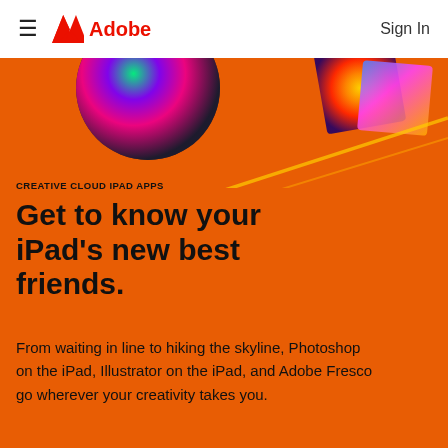≡  Adobe  Sign In
[Figure (illustration): Adobe website hero section with orange background and colorful abstract circular art pieces at the top]
CREATIVE CLOUD IPAD APPS
Get to know your iPad's new best friends.
From waiting in line to hiking the skyline, Photoshop on the iPad, Illustrator on the iPad, and Adobe Fresco go wherever your creativity takes you.